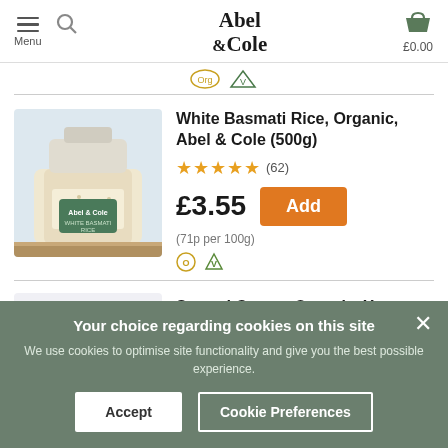Abel & Cole — Menu | £0.00
[Figure (screenshot): Abel & Cole website screenshot showing product listing for White Basmati Rice and Soured Cream, with cookie consent banner overlay]
White Basmati Rice, Organic, Abel & Cole (500g)
★★★★★ (62)
£3.55
(71p per 100g)
Soured Cream, Organic, Yeo Valley (300ml)
Your choice regarding cookies on this site
We use cookies to optimise site functionality and give you the best possible experience.
Accept
Cookie Preferences